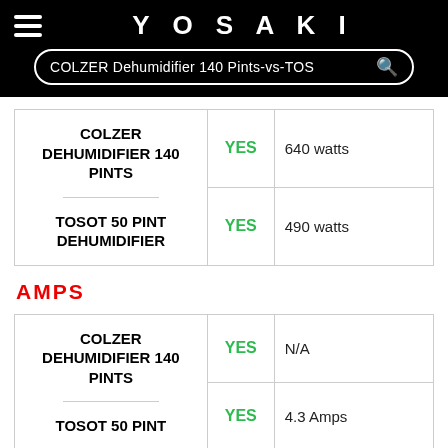YOSAKI
COLZER Dehumidifier 140 Pints-vs-TOS
| Product | Available | Value |
| --- | --- | --- |
| COLZER DEHUMIDIFIER 140 PINTS | YES | 640 watts |
| COLZER DEHUMIDIFIER 140 PINTS | YES | 490 watts |
| TOSOT 50 PINT DEHUMIDIFIER |  |  |
AMPS
| Product | Available | Value |
| --- | --- | --- |
| COLZER DEHUMIDIFIER 140 PINTS | YES | N/A |
| COLZER DEHUMIDIFIER 140 PINTS | YES | 4.3 Amps |
| TOSOT 50 PINT |  |  |